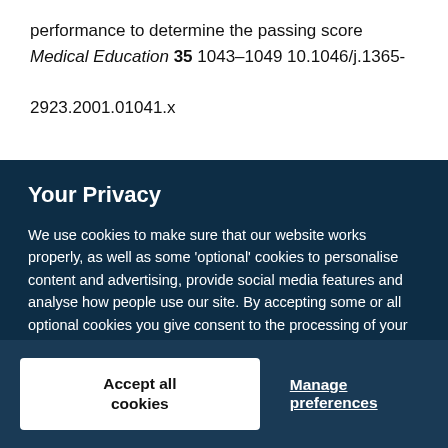performance to determine the passing score Medical Education 35 1043–1049 10.1046/j.1365-2923.2001.01041.x
Your Privacy
We use cookies to make sure that our website works properly, as well as some 'optional' cookies to personalise content and advertising, provide social media features and analyse how people use our site. By accepting some or all optional cookies you give consent to the processing of your personal data, including transfer to third parties, some in countries outside of the European Economic Area that do not offer the same data protection standards as the country where you live. You can decide which optional cookies to accept by clicking on 'Manage Settings', where you can also find more information about how your personal data is processed. Further information can be found in our privacy policy.
Accept all cookies
Manage preferences